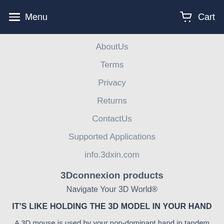Menu   Cart
AboutUs
Terms
Privacy
Returns
ContactUs
Supported Applications
info.3dxin.com
3Dconnexion products
Navigate Your 3D World®
IT'S LIKE HOLDING THE 3D MODEL IN YOUR HAND
A 3D mouse is used by your non-dominant hand in tandem with a standard mouse for a balanced, cooperative work style. You